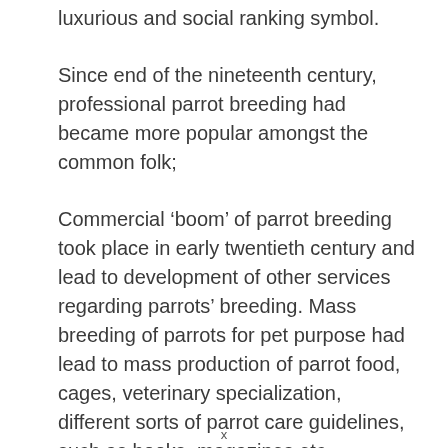luxurious and social ranking symbol.
Since end of the nineteenth century, professional parrot breeding had became more popular amongst the common folk;
Commercial ‘boom’ of parrot breeding took place in early twentieth century and lead to development of other services regarding parrots’ breeding. Mass breeding of parrots for pet purpose had lead to mass production of parrot food, cages, veterinary specialization, different sorts of parrot care guidelines, such as books, magazines etc.